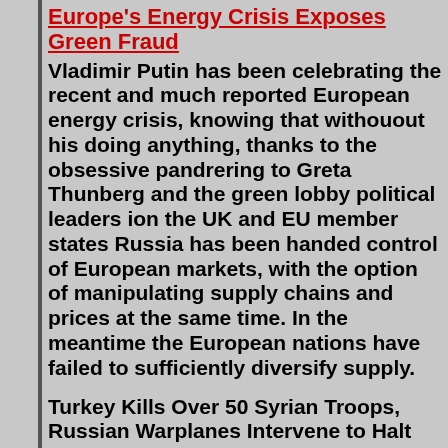Europe's Energy Crisis Exposes Green Fraud
Vladimir Putin has been celebrating the recent and much reported European energy crisis, knowing that withouout his doing anything, thanks to the obsessive pandrering to Greta Thunberg and the green lobby political leaders ion the UK and EU member states Russia has been handed control of European markets, with the option of manipulating supply chains and prices at the same time. In the meantime the European nations have failed to sufficiently diversify supply.
Turkey Kills Over 50 Syrian Troops, Russian Warplanes Intervene to Halt